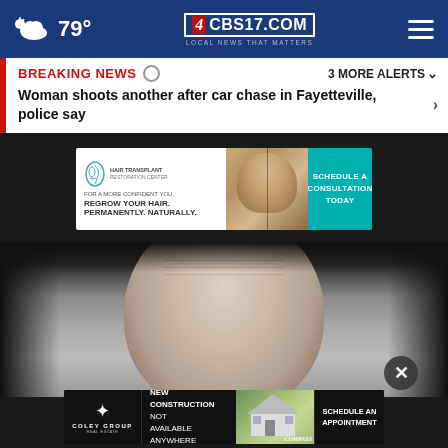79° CBS17.COM LOCAL NEWS THAT MATTERS
BREAKING NEWS ○   3 MORE ALERTS
Woman shoots another after car chase in Fayetteville, police say
[Figure (photo): Hair restoration advertisement banner showing before/after hair images with teal schedule button]
[Figure (photo): Close-up photo of a bald man's face looking slightly downward]
[Figure (photo): Coley Group real estate advertisement showing a house image and schedule appointment call to action]